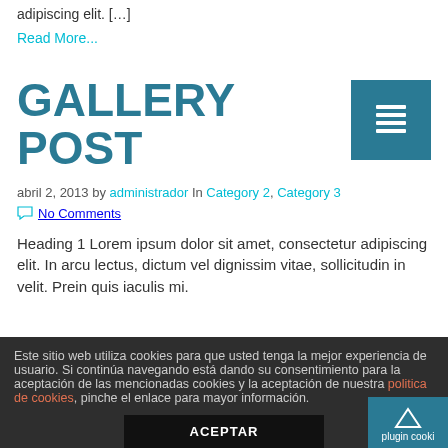adipiscing elit. […]
Read More...
GALLERY POST
[Figure (other): Teal square icon with a list/document symbol]
abril 2, 2013 by administrador In Category 2, Category 3
No Comments
Heading 1 Lorem ipsum dolor sit amet, consectetur adipiscing elit. In arcu lectus, dictum vel dignissim vitae, sollicitudin in velit. Prein quis iaculis mi.
Este sitio web utiliza cookies para que usted tenga la mejor experiencia de usuario. Si continúa navegando está dando su consentimiento para la aceptación de las mencionadas cookies y la aceptación de nuestra politica de cookies, pinche el enlace para mayor información.
ACEPTAR
plugin cooki